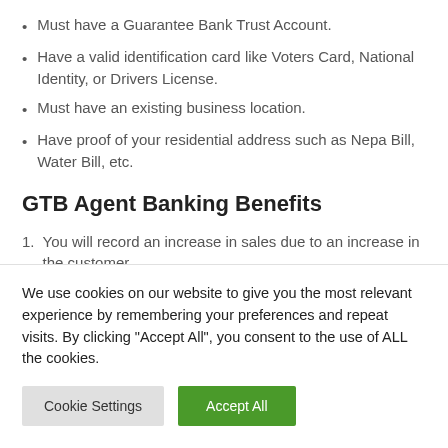Must have a Guarantee Bank Trust Account.
Have a valid identification card like Voters Card, National Identity, or Drivers License.
Must have an existing business location.
Have proof of your residential address such as Nepa Bill, Water Bill, etc.
GTB Agent Banking Benefits
You will record an increase in sales due to an increase in the customer.
There will be an automatic increase in your income.
We use cookies on our website to give you the most relevant experience by remembering your preferences and repeat visits. By clicking “Accept All”, you consent to the use of ALL the cookies.